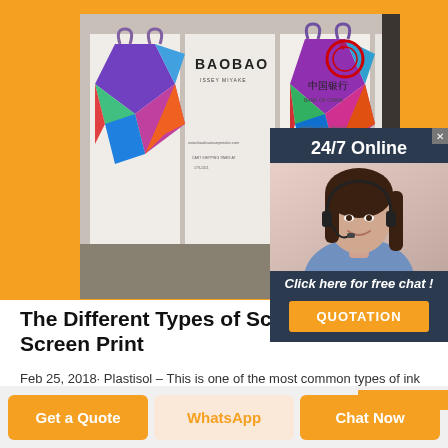[Figure (photo): Storefront display with colorful geometric patterned bags (BaoBao Issey Miyake brand) displayed on white panels, next to Bank of China signage. The background shows a retail environment.]
[Figure (photo): 24/7 Online customer service ad widget showing a smiling woman with a headset, with text '24/7 Online', 'Click here for free chat!', and an orange 'QUOTATION' button.]
The Different Types of Screen Printing | Screen Print
Feb 25, 2018· Plastisol – This is one of the most common types of ink used in screen printing. It is a plastich
Get a Quote
WhatsApp
Chat Now